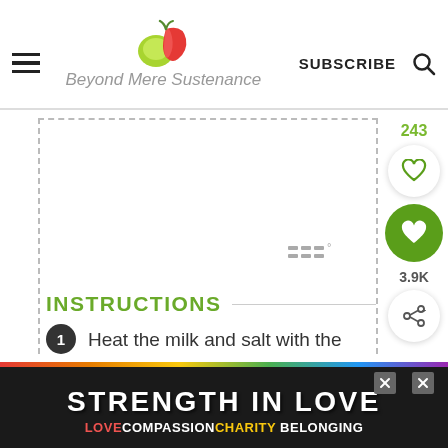Beyond Mere Sustenance — SUBSCRIBE
[Figure (screenshot): White rectangular content area with dashed left and right borders, nearly empty, with a watermark logo at bottom right]
INSTRUCTIONS
Heat the milk and salt with the
[Figure (screenshot): Bottom advertisement banner reading STRENGTH IN LOVE with rainbow colored LOVECOMPASSIONCHARITYBELONGING subtitle]